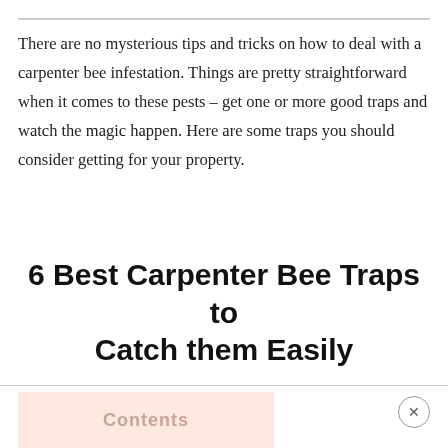There are no mysterious tips and tricks on how to deal with a carpenter bee infestation. Things are pretty straightforward when it comes to these pests – get one or more good traps and watch the magic happen. Here are some traps you should consider getting for your property.
6 Best Carpenter Bee Traps to Catch them Easily
Contents